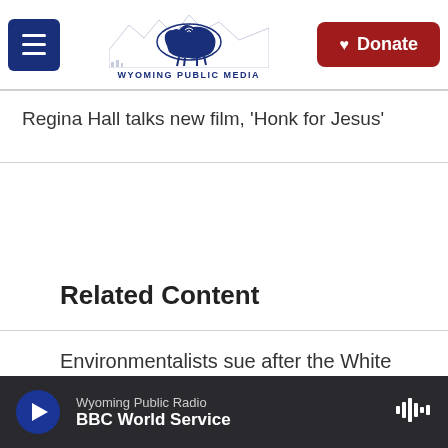Wyoming Public Media | Donate
Regina Hall talks new film, 'Honk for Jesus'
Related Content
Environmentalists sue after the White House resumed sales of oil and gas leases
July 1, 2022
Wyoming Public Radio | BBC World Service